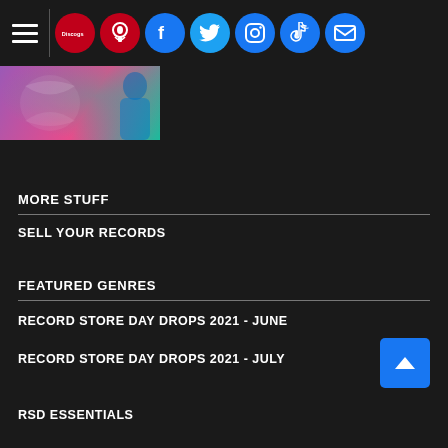Navigation bar with hamburger menu, Discogs logo, podcast icon, Facebook, Twitter, Instagram, TikTok, Email icons
[Figure (photo): Partial album cover image with purple/pink teal gradient and partial view of a person]
MORE STUFF
SELL YOUR RECORDS
FEATURED GENRES
RECORD STORE DAY DROPS 2021 - JUNE
RECORD STORE DAY DROPS 2021 - JULY
RSD ESSENTIALS